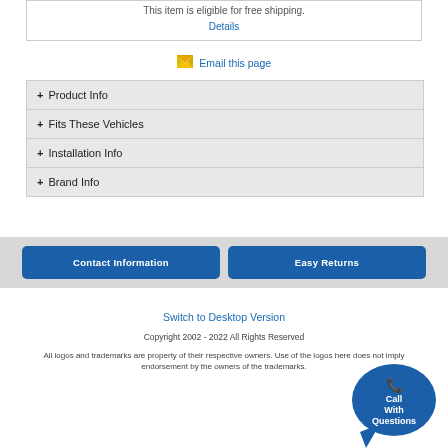This item is eligible for free shipping. Details
Email this page
+ Product Info
+ Fits These Vehicles
+ Installation Info
+ Brand Info
Contact Information
Easy Returns
Switch to Desktop Version
Copyright 2002 - 2022 All Rights Reserved
All logos and trademarks are property of their respective owners. Use of the logos here does not imply endorsement by the owners of the trademarks.
[Figure (illustration): Call With Questions phone widget button]